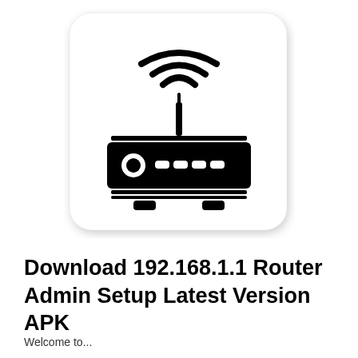[Figure (illustration): A WiFi router icon inside a rounded-rectangle card with drop shadow. The icon shows a router device with antenna and wireless signal waves above it, rendered in black on white background.]
Download 192.168.1.1 Router Admin Setup Latest Version APK
Welcome to...